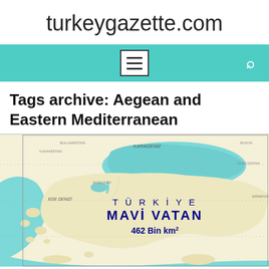turkeygazette.com
Tags archive: Aegean and Eastern Mediterranean
[Figure (map): Map of Turkey showing 'Türkiye Mavi Vatan 462 Bin km²' — the Blue Homeland doctrine map, showing Turkey's claimed maritime zones in the Aegean, Black Sea, and Eastern Mediterranean.]